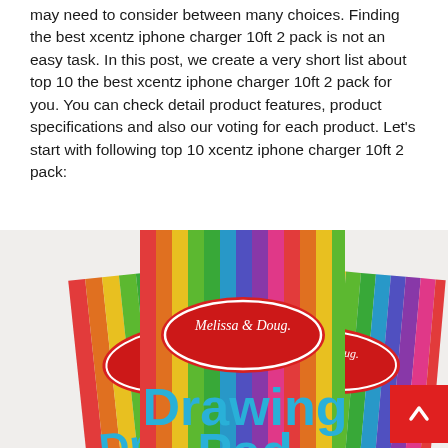may need to consider between many choices. Finding the best xcentz iphone charger 10ft 2 pack is not an easy task. In this post, we create a very short list about top 10 the best xcentz iphone charger 10ft 2 pack for you. You can check detail product features, product specifications and also our voting for each product. Let's start with following top 10 xcentz iphone charger 10ft 2 pack:
[Figure (photo): Three Melissa & Doug Drawing Pad books with colorful rainbow striped covers fanned out, showing the brand logo in a red oval and large blue text reading 'Drawing Pad']